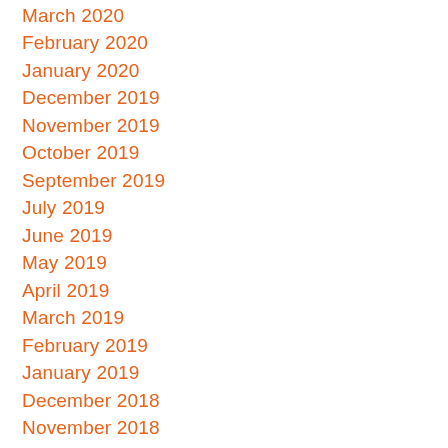March 2020
February 2020
January 2020
December 2019
November 2019
October 2019
September 2019
July 2019
June 2019
May 2019
April 2019
March 2019
February 2019
January 2019
December 2018
November 2018
October 2018
September 2018
August 2018
July 2018